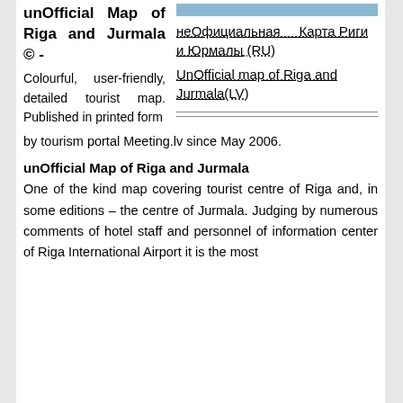unOfficial Map of Riga and Jurmala © -
Colourful, user-friendly, detailed tourist map. Published in printed form by tourism portal Meeting.lv since May 2006.
неОфициальная Карта Риги и Юрмалы (RU)
UnOfficial map of Riga and Jurmala(LV)
unOfficial Map of Riga and Jurmala
One of the kind map covering tourist centre of Riga and, in some editions – the centre of Jurmala. Judging by numerous comments of hotel staff and personnel of information center of Riga International Airport it is the most